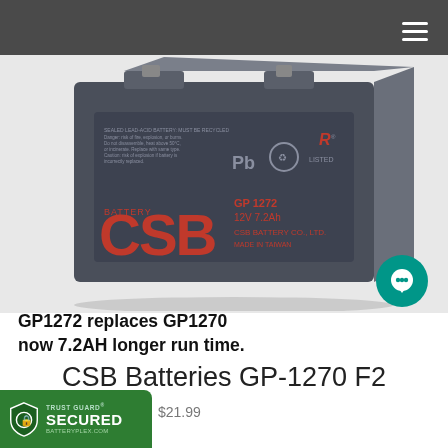[Figure (photo): CSB Battery GP1272, a dark grey rectangular sealed lead-acid battery with red CSB logo and text reading GP 1272, 12V 7.2Ah, CSB BATTERY CO., LTD., MADE IN TAIWAN, with Pb symbol, recycling icon, and UL mark on the label.]
GP1272 replaces GP1270 now 7.2AH longer run time.
CSB Batteries GP-1270 F2
$21.99
[Figure (logo): Trust Guard Secured badge with shield icon and text TRUST GUARD SECURED BATTERYPLEX.COM on green background.]